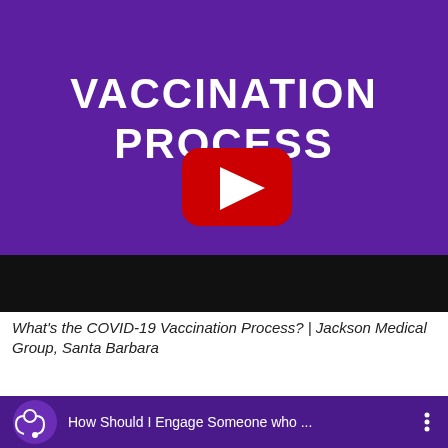[Figure (screenshot): YouTube video thumbnail with purple background showing 'VACCINATION PROCESS' text in white bold letters and a red YouTube play button in the center. Below is a black progress bar area.]
What's the COVID-19 Vaccination Process? | Jackson Medical Group, Santa Barbara
[Figure (screenshot): Next video row with purple background showing a stethoscope channel icon and text 'How Should I Engage Someone who ...' with a vertical dots menu icon on the right.]